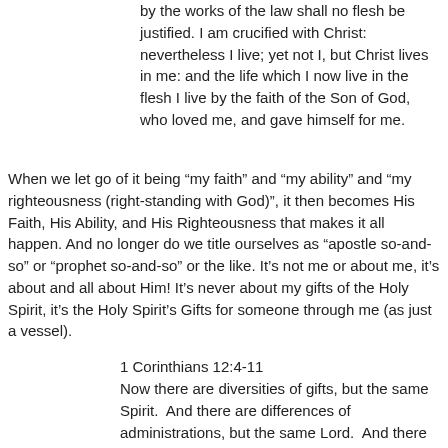by the works of the law shall no flesh be justified. I am crucified with Christ: nevertheless I live; yet not I, but Christ lives in me: and the life which I now live in the flesh I live by the faith of the Son of God, who loved me, and gave himself for me.
When we let go of it being “my faith” and “my ability” and “my righteousness (right-standing with God)”, it then becomes His Faith, His Ability, and His Righteousness that makes it all happen. And no longer do we title ourselves as “apostle so-and-so” or “prophet so-and-so” or the like. It’s not me or about me, it’s about and all about Him! It’s never about my gifts of the Holy Spirit, it’s the Holy Spirit’s Gifts for someone through me (as just a vessel).
1 Corinthians 12:4-11
Now there are diversities of gifts, but the same Spirit.  And there are differences of administrations, but the same Lord.  And there are diversities of operations, but it is the same God which works all in all.  But the manifestation of the Spirit is given to every man to profit withal.  For to one is given by the Spirit the word of wisdom; to another the word of knowledge by the same Spirit;  To another faith by the same Spirit; to another the gifts of healing by the same Spirit; To